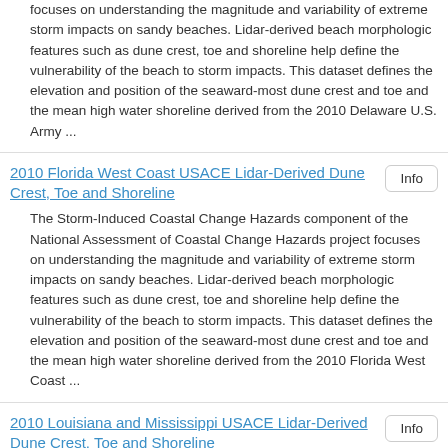focuses on understanding the magnitude and variability of extreme storm impacts on sandy beaches. Lidar-derived beach morphologic features such as dune crest, toe and shoreline help define the vulnerability of the beach to storm impacts. This dataset defines the elevation and position of the seaward-most dune crest and toe and the mean high water shoreline derived from the 2010 Delaware U.S. Army ...
2010 Florida West Coast USACE Lidar-Derived Dune Crest, Toe and Shoreline
The Storm-Induced Coastal Change Hazards component of the National Assessment of Coastal Change Hazards project focuses on understanding the magnitude and variability of extreme storm impacts on sandy beaches. Lidar-derived beach morphologic features such as dune crest, toe and shoreline help define the vulnerability of the beach to storm impacts. This dataset defines the elevation and position of the seaward-most dune crest and toe and the mean high water shoreline derived from the 2010 Florida West Coast ...
2010 Louisiana and Mississippi USACE Lidar-Derived Dune Crest, Toe and Shoreline
The Storm-Induced Coastal Change Hazards component of the National Assessment of Coastal Change Hazards project focuses on understanding the magnitude and variability of extreme storm impacts on sandy beaches. Lidar-derived beach morphologic features such as dune crest, toe and shoreline help define the vulnerability of the beach to storm impacts.